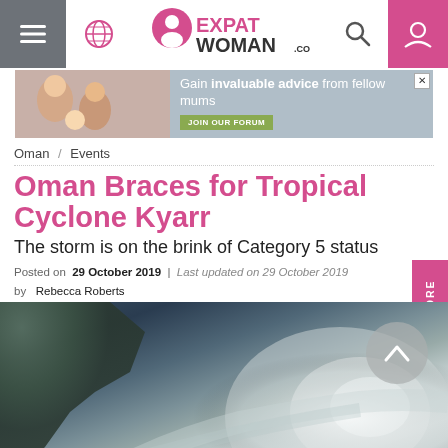ExpatWoman.com navigation header with hamburger menu, globe icon, logo, search icon, and user icon
[Figure (photo): Advertisement banner: 'Gain invaluable advice from fellow mums' with JOIN OUR FORUM button and women/baby photo]
Oman / Events
Oman Braces for Tropical Cyclone Kyarr
The storm is on the brink of Category 5 status
Posted on 29 October 2019 | Last updated on 29 October 2019 by Rebecca Roberts
[Figure (photo): Satellite image of Tropical Cyclone Kyarr over the Arabian Sea, showing cyclone spiral cloud formation with visible coastline (Oman/Arabian peninsula) at top left]
14 SHARES
[Figure (infographic): Social sharing bar with 14 shares count, Facebook, Twitter, Email, Pinterest, and More buttons]